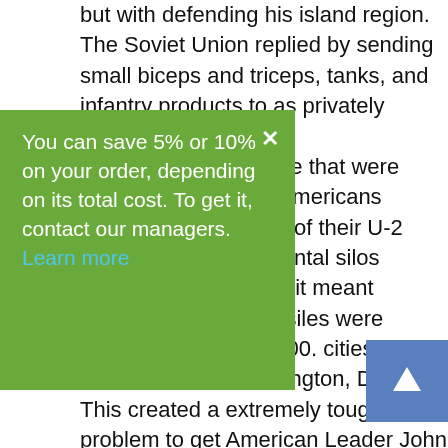but with defending his island region. The Soviet Union replied by sending small biceps and triceps, tanks, and infantry products to as privately transferring ssile succursale that were in Cuba. The Americans e moment one of their U-2 ered the elemental silos Cuba because it meant the Soviet missiles were major U. S i9000. cities, which includes Washington, Deb. C. This created a extremely tough problem to get American Leader John F. Kennedy for which he needed to find a solution. He could not permit the missile succursale to finish becoming constructedbecause that could place the Usa in danger. That meant that both he would need to try diplomatic means to try to negotiate the removal of the guns, or he'd have to make use of the might with the American army to remove the
[Figure (infographic): Green popup overlay with white text: 'You can save 5% or 10% on your order, depending on its total cost. To get it, contact our managers. Learn more' with a close (X) button in the top right corner.]